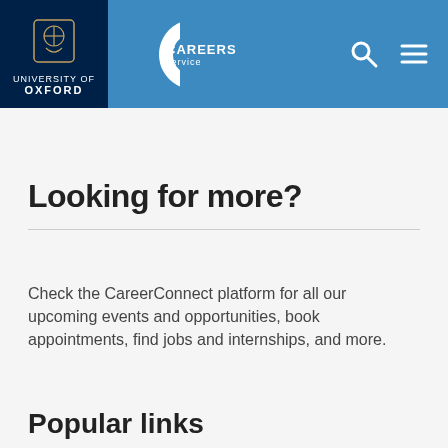[Figure (logo): University of Oxford and Careers Service header logo on blue background]
Looking for more?
Check the CareerConnect platform for all our upcoming events and opportunities, book appointments, find jobs and internships, and more.
Login to CareerConnect
[Figure (screenshot): Cookie Control popup overlay with dark background showing: 'Cookie Control' title with X close button, 'This site uses cookies to store information on your computer.' body text, 'About this tool' orange link, and 'read more' button]
Popular links